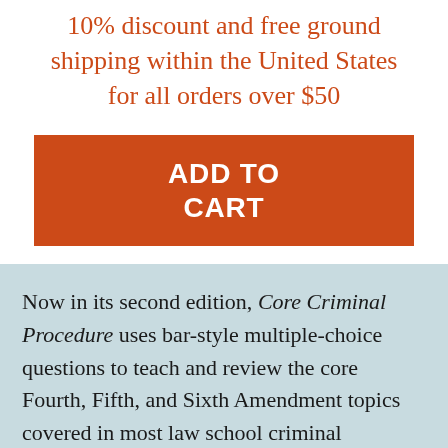10% discount and free ground shipping within the United States for all orders over $50
[Figure (other): Orange button labeled ADD TO CART]
Now in its second edition, Core Criminal Procedure uses bar-style multiple-choice questions to teach and review the core Fourth, Fifth, and Sixth Amendment topics covered in most law school criminal